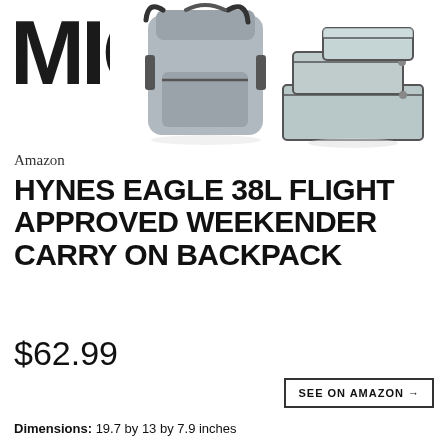[Figure (logo): MIC logo in bold black text, top left]
[Figure (photo): Gray Hynes Eagle backpack with packing cubes shown on white background]
MENU →
Amazon
HYNES EAGLE 38L FLIGHT APPROVED WEEKENDER CARRY ON BACKPACK
$62.99
SEE ON AMAZON →
Dimensions: 19.7 by 13 by 7.9 inches